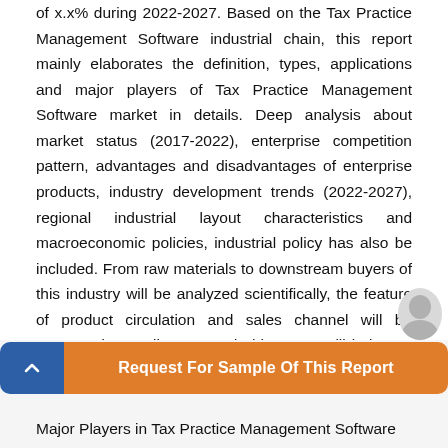of x.x% during 2022-2027. Based on the Tax Practice Management Software industrial chain, this report mainly elaborates the definition, types, applications and major players of Tax Practice Management Software market in details. Deep analysis about market status (2017-2022), enterprise competition pattern, advantages and disadvantages of enterprise products, industry development trends (2022-2027), regional industrial layout characteristics and macroeconomic policies, industrial policy has also be included. From raw materials to downstream buyers of this industry will be analyzed scientifically, the feature of product circulation and sales channel will be presented as well. In a word, this report will help you to establish a panorama of industrial development and characteristics of the Tax Practice Management Software market.
The Tax Practice Management Software market can be split based on product types, major applications, and
[Figure (other): Call-to-action bar with blue arrow button and orange 'Request For Sample Of This Report' button, with a small avatar image on the right]
Major Players in Tax Practice Management Software